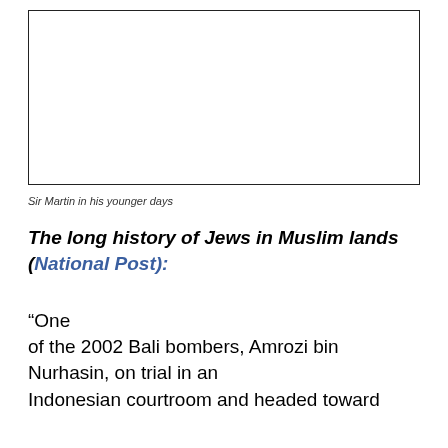[Figure (other): Empty rectangular box representing a photo placeholder of Sir Martin in his younger days]
Sir Martin in his younger days
The long history of Jews in Muslim lands (National Post):
“One of the 2002 Bali bombers, Amrozi bin Nurhasin, on trial in an Indonesian courtroom and headed toward